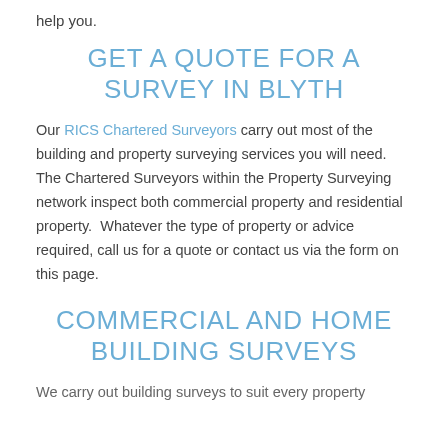help you.
GET A QUOTE FOR A SURVEY IN BLYTH
Our RICS Chartered Surveyors carry out most of the building and property surveying services you will need. The Chartered Surveyors within the Property Surveying network inspect both commercial property and residential property. Whatever the type of property or advice required, call us for a quote or contact us via the form on this page.
COMMERCIAL AND HOME BUILDING SURVEYS
We carry out building surveys to suit every property